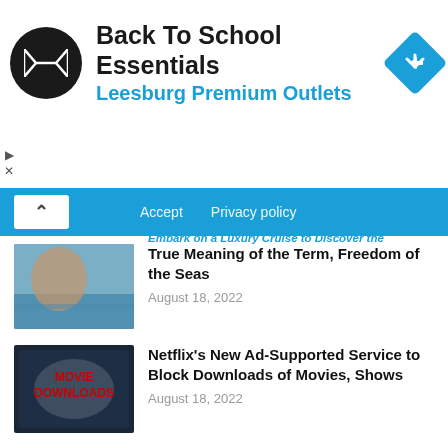[Figure (screenshot): Advertisement banner: Back To School Essentials at Leesburg Premium Outlets with navigation icon]
Accept   Privacy policy
Embark on a Luxury Cruise to Discover the True Meaning of the Term, Freedom of the Seas
[Figure (photo): Person at sea / cruise ship]
True Meaning of the Term, Freedom of the Seas
August 18, 2022
[Figure (photo): Movie Downloads promotional image with red text]
Netflix's New Ad-Supported Service to Block Downloads of Movies, Shows
August 18, 2022
[Figure (photo): Person with puzzle piece and person silhouette icons]
CEO of Genesis Steps Down as Crypto Broker Reduces its Workforce
August 18, 2022
[Figure (screenshot): Bottom advertisement banner]